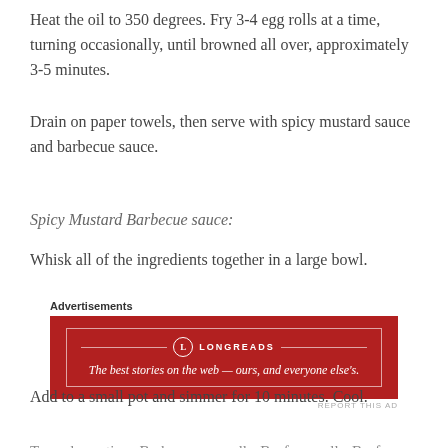Heat the oil to 350 degrees. Fry 3-4 egg rolls at a time, turning occasionally, until browned all over, approximately 3-5 minutes.
Drain on paper towels, then serve with spicy mustard sauce and barbecue sauce.
Spicy Mustard Barbecue sauce:
Whisk all of the ingredients together in a large bowl.
[Figure (other): Advertisement banner for Longreads: 'The best stories on the web — ours, and everyone else's.' Red background with white border and logo.]
Add to a small pot and simmer for 10 minutes. Cool.
Tagged appetizer, Barbeque egg rolls, Beef egg rolls, Beef